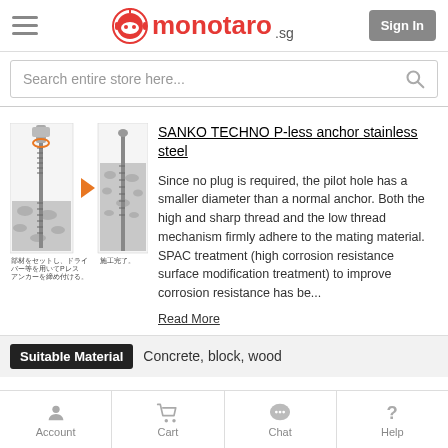monotaro.sg — Sign In
Search entire store here...
[Figure (illustration): Product installation diagram showing P-less anchor being screwed in with a driver, arrow pointing to installed anchor in concrete/block material. Japanese captions below images.]
SANKO TECHNO P-less anchor stainless steel
Since no plug is required, the pilot hole has a smaller diameter than a normal anchor. Both the high and sharp thread and the low thread mechanism firmly adhere to the mating material. SPAC treatment (high corrosion resistance surface modification treatment) to improve corrosion resistance has be...
Read More
Suitable Material   Concrete, block, wood
Account   Cart   Chat   Help